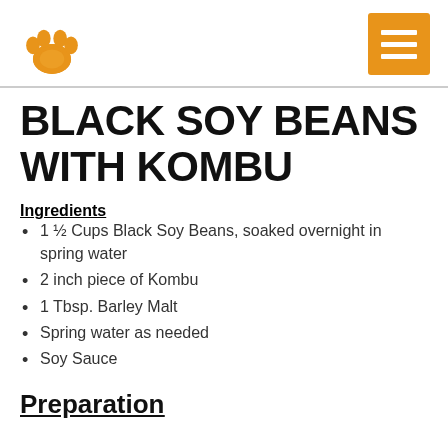BLACK SOY BEANS WITH KOMBU
Ingredients
1 ½ Cups Black Soy Beans, soaked overnight in spring water
2 inch piece of Kombu
1 Tbsp. Barley Malt
Spring water as needed
Soy Sauce
Preparation